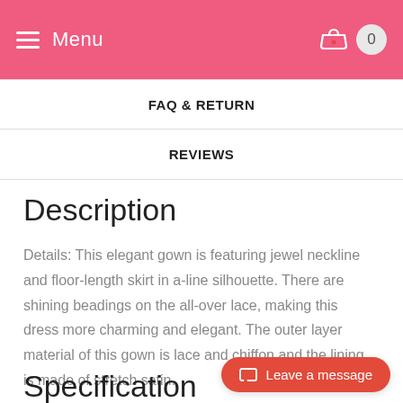Menu
FAQ & RETURN
REVIEWS
Description
Details: This elegant gown is featuring jewel neckline and floor-length skirt in a-line silhouette. There are shining beadings on the all-over lace, making this dress more charming and elegant. The outer layer material of this gown is lace and chiffon and the lining is made of stretch satin.
Specification